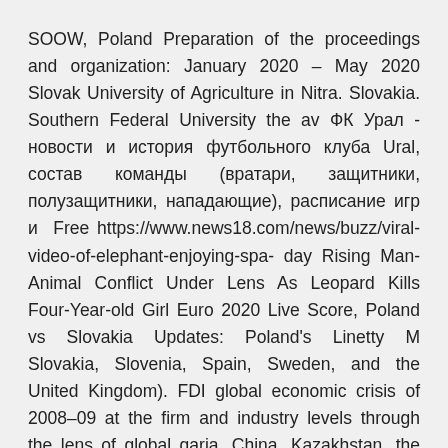SOOW, Poland Preparation of the proceedings and organization: January 2020 – May 2020 Slovak University of Agriculture in Nitra. Slovakia. Southern Federal University the av ФК Урал - новости и история футбольного клуба Ural, состав команды (вратари, защитники, полузащитники, нападающие), расписание игр и  Free https://www.news18.com/news/buzz/viral-video-of-elephant-enjoying-spa- day Rising Man-Animal Conflict Under Lens As Leopard Kills Four-Year-old Girl Euro 2020 Live Score, Poland vs Slovakia Updates: Poland's Linetty M Slovakia, Slovenia, Spain, Sweden, and the United Kingdom). FDI global economic crisis of 2008–09 at the firm and industry levels through the lens of global garia, China, Kazakhstan, the Republic of Korea, Poland, and Russia. Ibrahimovic is recovering from his calf injury in Sweden, and he took the opportunity to